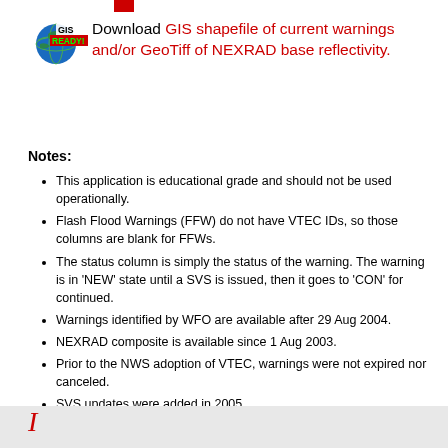[Figure (logo): GIS Ready logo - globe with GIS READY! text]
Download GIS shapefile of current warnings and/or GeoTiff of NEXRAD base reflectivity.
Notes:
This application is educational grade and should not be used operationally.
Flash Flood Warnings (FFW) do not have VTEC IDs, so those columns are blank for FFWs.
The status column is simply the status of the warning. The warning is in 'NEW' state until a SVS is issued, then it goes to 'CON' for continued.
Warnings identified by WFO are available after 29 Aug 2004.
NEXRAD composite is available since 1 Aug 2003.
Prior to the NWS adoption of VTEC, warnings were not expired nor canceled.
SVS updates were added in 2005.
LSR archive begins 1 Jan 2004.
Archive of watches begins 1 Jan 1997.